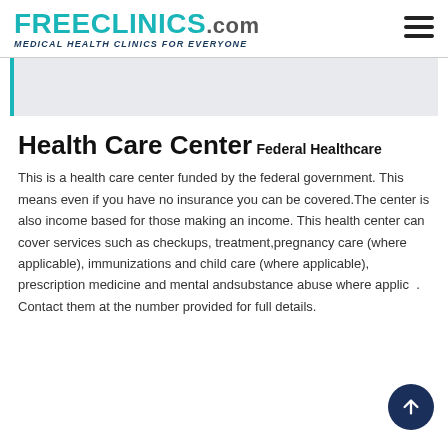FREECLINICS.COM Medical Health Clinics For Everyone
[Figure (other): Search bar area with teal left border on gray background]
Health Care Center
Federal Healthcare
This is a health care center funded by the federal government. This means even if you have no insurance you can be covered.The center is also income based for those making an income. This health center can cover services such as checkups, treatment,pregnancy care (where applicable), immunizations and child care (where applicable), prescription medicine and mental andsubstance abuse where applicable. Contact them at the number provided for full details.